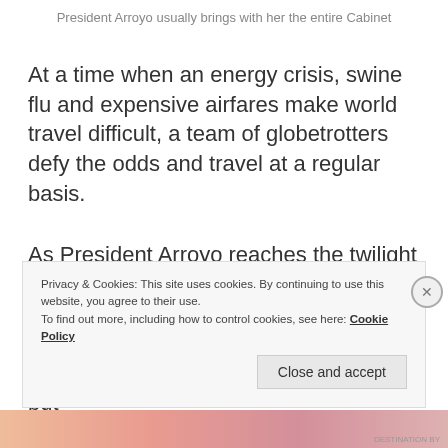President Arroyo usually brings with her the entire Cabinet
At a time when an energy crisis, swine flu and expensive airfares make world travel difficult, a team of globetrotters defy the odds and travel at a regular basis.
As President Arroyo reaches the twilight of her tenure as chief executive, she plans to take advantage of her remaining months by going on different trips. Most of them seem to be leisure, but
Privacy & Cookies: This site uses cookies. By continuing to use this website, you agree to their use.
To find out more, including how to control cookies, see here: Cookie Policy
Close and accept